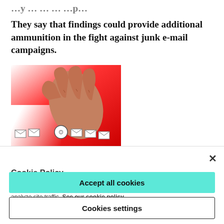They say that findings could provide additional ammunition in the fight against junk e-mail campaigns.
[Figure (illustration): A hand pinching/picking up white envelope icons (emails) against a red and white background, illustrating spam or junk email concept.]
Cookie Policy
We use cookies to give you a more personalized browsing experience and analyze site traffic. See our cookie policy
Accept all cookies
Cookies settings